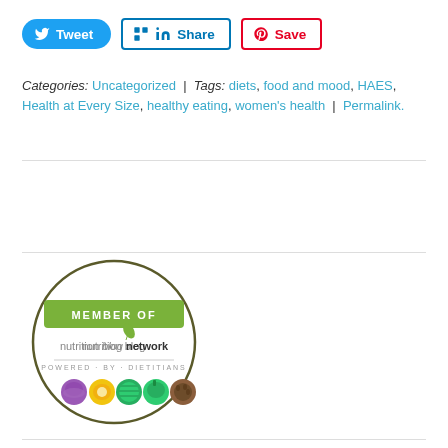[Figure (other): Social sharing buttons: Tweet (Twitter/blue rounded), Share (LinkedIn/blue bordered), Save (Pinterest/red bordered)]
Categories: Uncategorized | Tags: diets, food and mood, HAES, Health at Every Size, healthy eating, women's health | Permalink.
[Figure (logo): Nutrition Blog Network badge — circular badge with 'MEMBER OF' ribbon, nutrition blog network logo, 'POWERED BY DIETITIANS', and colorful food icons (purple cabbage, yellow citrus, striped melon, green pepper, brown coconut)]